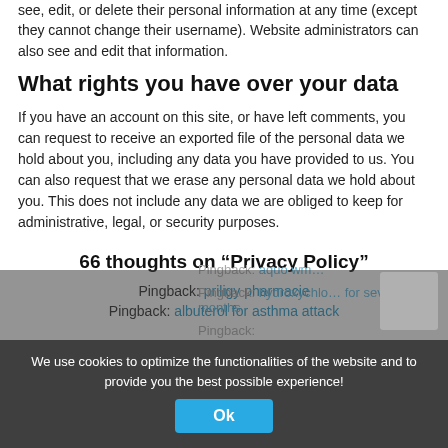see, edit, or delete their personal information at any time (except they cannot change their username). Website administrators can also see and edit that information.
What rights you have over your data
If you have an account on this site, or have left comments, you can request to receive an exported file of the personal data we hold about you, including any data you have provided to us. You can also request that we erase any personal data we hold about you. This does not include any data we are obliged to keep for administrative, legal, or security purposes.
66 thoughts on “Privacy Policy”
Pingback: priligy pharmacie
Pingback: albuterol for asthma attack
Pingback: [link]
Pingback: hydroxy... [link for several months]
We use cookies to optimize the functionalities of the website and to provide you the best possible experience!